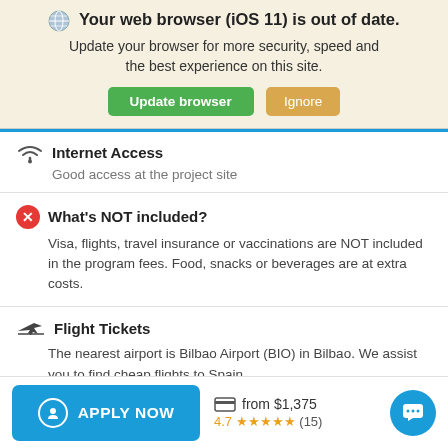Your web browser (iOS 11) is out of date.
Update your browser for more security, speed and the best experience on this site.
Update browser | Ignore
Internet Access
Good access at the project site
What's NOT included?
Visa, flights, travel insurance or vaccinations are NOT included in the program fees. Food, snacks or beverages are at extra costs.
Flight Tickets
The nearest airport is Bilbao Airport (BIO) in Bilbao. We assist you to find cheap flights to Spain.
APPLY NOW  from $1,375  4.7 ★★★★★ (15)